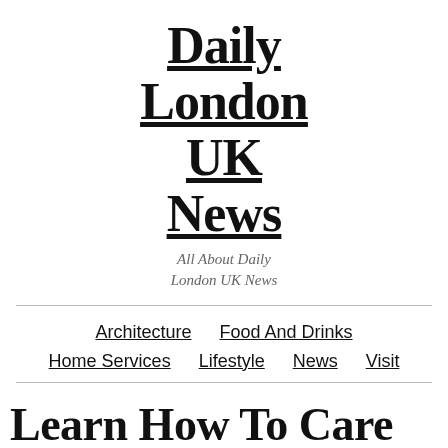Daily London UK News
All About Daily London UK News
Architecture | Food And Drinks | Home Services | Lifestyle | News | Visit
Learn How To Care For Your